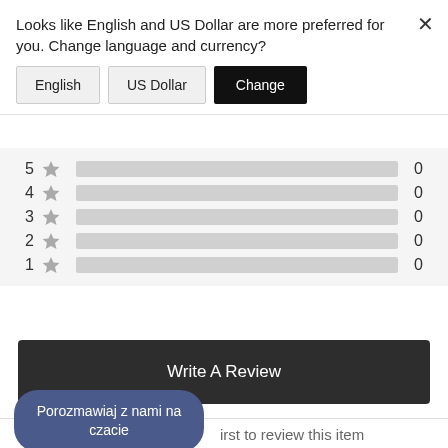Looks like English and US Dollar are more preferred for you. Change language and currency?
English  US Dollar  Change
[Figure (other): Star rating distribution bars showing 5 star through 1 star, each with count 0 and empty grey bars]
Write A Review
Porozmawiaj z nami na czacie
irst to review this item